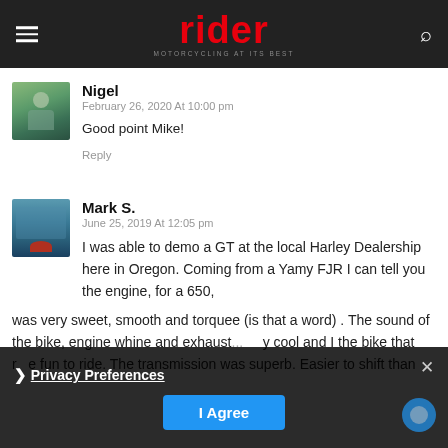rider — MOTORCYCLING AT ITS BEST
Nigel
February 26, 2020 At 10:00 pm
Good point Mike!
Reply
Mark S.
June 25, 2019 At 12:05 pm
I was able to demo a GT at the local Harley Dealership here in Oregon. Coming from a Yamy FJR I can tell you the engine, for a 650, was very sweet, smooth and torquee (is that a word) . The sound of the bike, engine whine and exhaust...     y cool and I the bike that r   e fun to ride. The transmission was superb. Easier to shift than
Privacy Preferences — I Agree